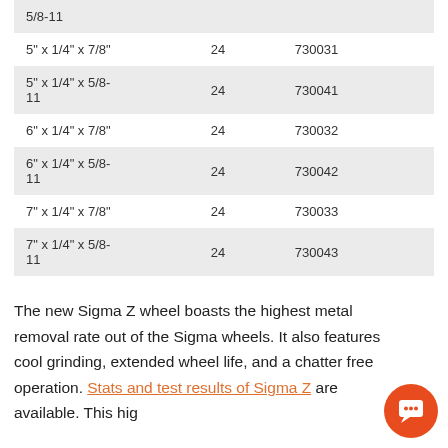| 5/8-11 |  |  |
| 5" x 1/4" x 7/8" | 24 | 730031 |
| 5" x 1/4" x 5/8-11 | 24 | 730041 |
| 6" x 1/4" x 7/8" | 24 | 730032 |
| 6" x 1/4" x 5/8-11 | 24 | 730042 |
| 7" x 1/4" x 7/8" | 24 | 730033 |
| 7" x 1/4" x 5/8-11 | 24 | 730043 |
The new Sigma Z wheel boasts the highest metal removal rate out of the Sigma wheels. It also features cool grinding, extended wheel life, and a chatter free operation. Stats and test results of Sigma Z are available. This high